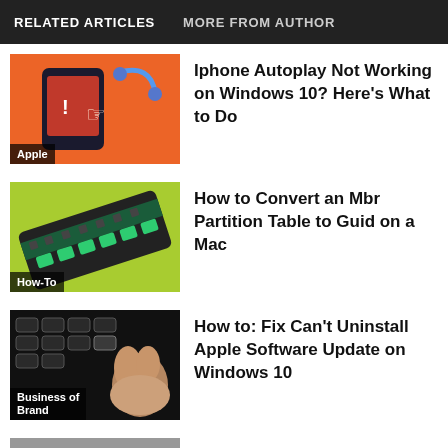RELATED ARTICLES   MORE FROM AUTHOR
[Figure (photo): Orange background with a phone and finger tapping, labeled Apple]
Iphone Autoplay Not Working on Windows 10? Here’s What to Do
[Figure (photo): Green background with a RAM memory stick, labeled How-To]
How to Convert an Mbr Partition Table to Guid on a Mac
[Figure (photo): Dark keyboard with hand, labeled Business of Brand]
How to: Fix Can’t Uninstall Apple Software Update on Windows 10
[Figure (photo): Person at laptop, labeled How-To]
How to Open Apple Files on Windows Pc